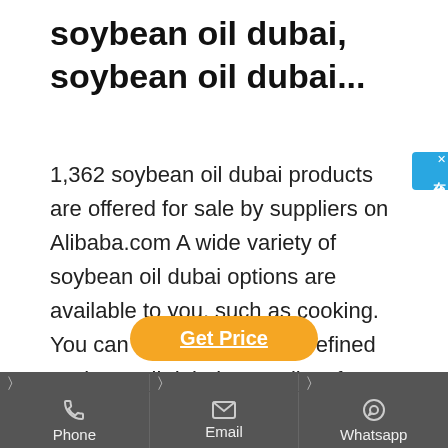soybean oil dubai, soybean oil dubai...
1,362 soybean oil dubai products are offered for sale by suppliers on Alibaba.com A wide variety of soybean oil dubai options are available to you, such as cooking. You can also choose from refined soybean oil dubai, as well as from plastic bottle, bulk, and can...
[Figure (other): Orange rounded button labeled 'Get Price' with underlined text]
[Figure (infographic): Dark gray footer bar with three columns: Phone (phone icon), Email (envelope icon), Whatsapp (whatsapp icon), each with chevron arrows at top]
[Figure (other): Blue vertical chat widget on right side with Chinese characters: 在线咨询 (online consultation), with X close button]